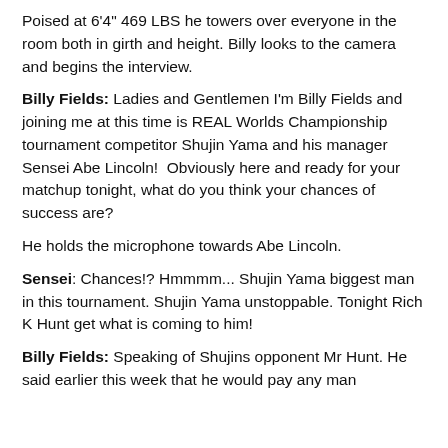Poised at 6'4" 469 LBS he towers over everyone in the room both in girth and height. Billy looks to the camera and begins the interview.
Billy Fields: Ladies and Gentlemen I'm Billy Fields and joining me at this time is REAL Worlds Championship tournament competitor Shujin Yama and his manager Sensei Abe Lincoln!  Obviously here and ready for your matchup tonight, what do you think your chances of success are?
He holds the microphone towards Abe Lincoln.
Sensei: Chances!? Hmmmm... Shujin Yama biggest man in this tournament. Shujin Yama unstoppable. Tonight Rich K Hunt get what is coming to him!
Billy Fields: Speaking of Shujins opponent Mr Hunt. He said earlier this week that he would pay any man